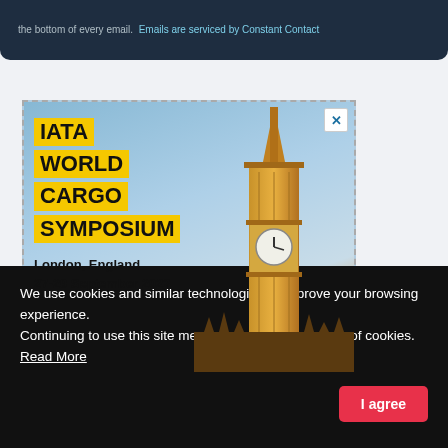the bottom of every email. Emails are serviced by Constant Contact
[Figure (photo): IATA World Cargo Symposium advertisement banner featuring Big Ben and Westminster, London, England, 27-29 September 2022]
We use cookies and similar technologies to improve your browsing experience. Continuing to use this site means you agree to our use of cookies.  Read More
I agree